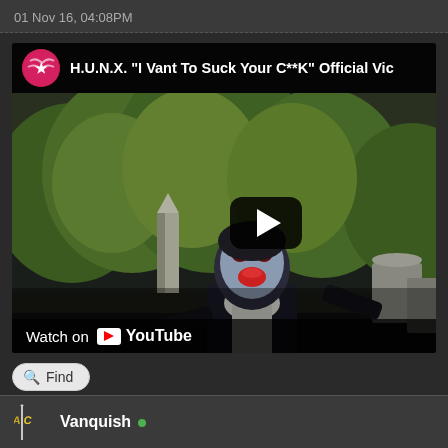01 Nov 16, 04:08PM
[Figure (screenshot): YouTube video embed showing H.U.N.X. 'I Vant To Suck Your C**K' Official Video. Thumbnail shows a person in vampire makeup with white face paint and red lips, wearing a black coat and white scarf, in a graveyard setting with green trees. A YouTube play button overlay is visible in the center-right. Bottom left shows 'Watch on YouTube' with the YouTube logo.]
Find
Vanquish •